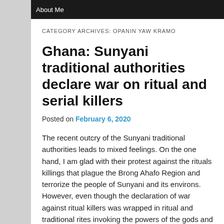About Me
CATEGORY ARCHIVES: OPANIN YAW KRAMO
Ghana: Sunyani traditional authorities declare war on ritual and serial killers
Posted on February 6, 2020
The recent outcry of the Sunyani traditional authorities leads to mixed feelings. On the one hand, I am glad with their protest against the rituals killings that plague the Brong Ahafo Region and terrorize the people of Sunyani and its environs. However, even though the declaration of war against ritual killers was wrapped in ritual and traditional rites invoking the powers of the gods and ancestors, it is also a token of mistrust in official local and